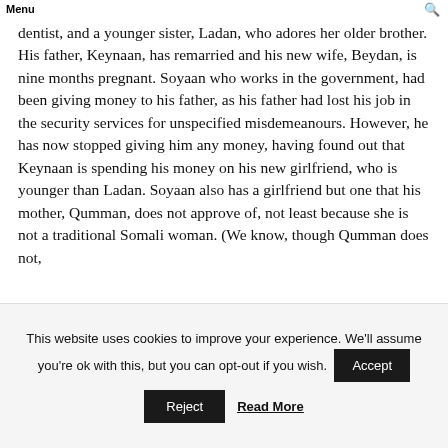Menu
dentist, and a younger sister, Ladan, who adores her older brother. His father, Keynaan, has remarried and his new wife, Beydan, is nine months pregnant. Soyaan who works in the government, had been giving money to his father, as his father had lost his job in the security services for unspecified misdemeanours. However, he has now stopped giving him any money, having found out that Keynaan is spending his money on his new girlfriend, who is younger than Ladan. Soyaan also has a girlfriend but one that his mother, Qumman, does not approve of, not least because she is not a traditional Somali woman. (We know, though Qumman does not,
This website uses cookies to improve your experience. We'll assume you're ok with this, but you can opt-out if you wish. Accept Reject Read More